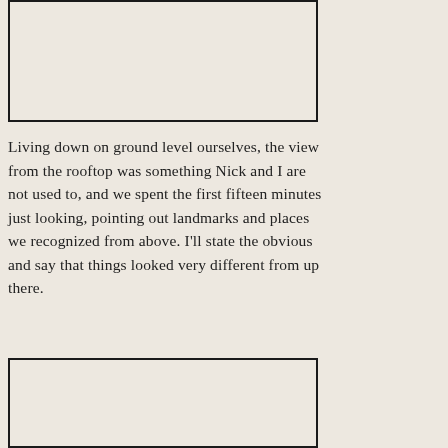[Figure (illustration): Top image placeholder — a large rectangular bordered box with beige/cream interior, partially visible at top of page]
Living down on ground level ourselves, the view from the rooftop was something Nick and I are not used to, and we spent the first fifteen minutes just looking, pointing out landmarks and places we recognized from above. I'll state the obvious and say that things looked very different from up there.
[Figure (illustration): Bottom image placeholder — a large rectangular bordered box with beige/cream interior, partially visible at bottom of page]